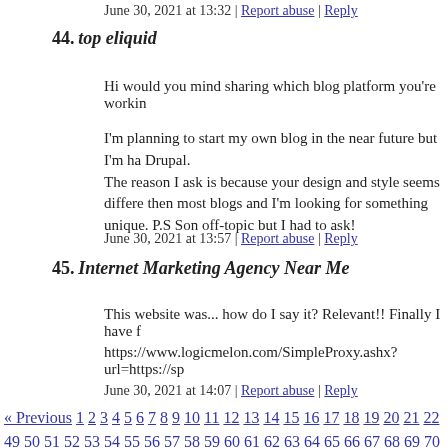June 30, 2021 at 13:32 | Report abuse | Reply
44. top eliquid
Hi would you mind sharing which blog platform you're workin
I'm planning to start my own blog in the near future but I'm ha Drupal.
The reason I ask is because your design and style seems differe then most blogs and I'm looking for something unique. P.S Son off-topic but I had to ask!
June 30, 2021 at 13:57 | Report abuse | Reply
45. Internet Marketing Agency Near Me
This website was... how do I say it? Relevant!! Finally I have f
https://www.logicmelon.com/SimpleProxy.ashx?url=https://sp
June 30, 2021 at 14:07 | Report abuse | Reply
« Previous 1 2 3 4 5 6 7 8 9 10 11 12 13 14 15 16 17 18 19 20 21 22 49 50 51 52 53 54 55 56 57 58 59 60 61 62 63 64 65 66 67 68 69 70
Leave a Reply to JMED
Click here to cancel reply.